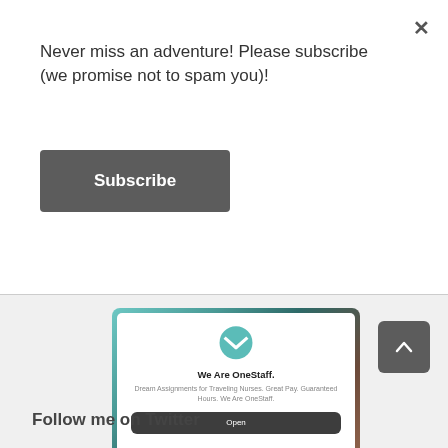Never miss an adventure! Please subscribe (we promise not to spam you)!
Subscribe
[Figure (screenshot): OneStaff medical advertisement card with teal logo, title 'We Are OneStaff.', description text, and Open button, displayed within gradient border container]
Follow me on Twitter